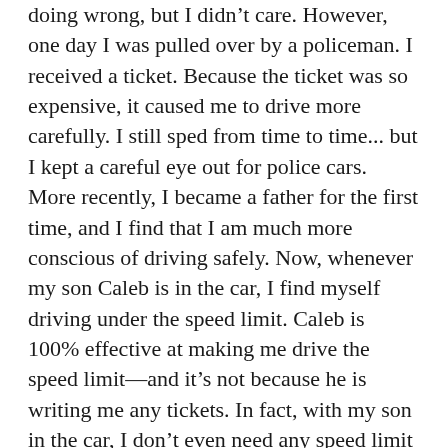doing wrong, but I didn't care. However, one day I was pulled over by a policeman. I received a ticket. Because the ticket was so expensive, it caused me to drive more carefully. I still sped from time to time... but I kept a careful eye out for police cars. More recently, I became a father for the first time, and I find that I am much more conscious of driving safely. Now, whenever my son Caleb is in the car, I find myself driving under the speed limit. Caleb is 100% effective at making me drive the speed limit—and it's not because he is writing me any tickets. In fact, with my son in the car, I don't even need any speed limit signs. I operate under a different law, the “law of protecting my son’s life.” Or you could call it “the law of love.” In the same way, the Law lets us know when we are doing wrong. Because disobeying the Law has